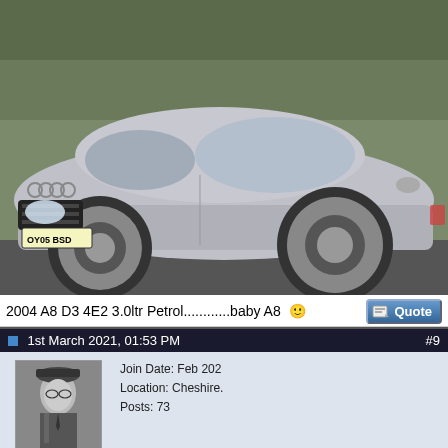[Figure (photo): Silver Audi A8 D3 sedan parked on a road with trees and bushes in background. UK number plate OY05 BSD visible.]
2004 A8 D3 4E2 3.0ltr Petrol...........baby A8 :)
1st March 2021, 01:53 PM  #9
[Figure (photo): Forum user avatar showing a black and white photo of a man in military uniform with glasses and a cap.]
Echo  Member  Join Date: Feb 202  Location: Cheshire.  Posts: 73
Quote: